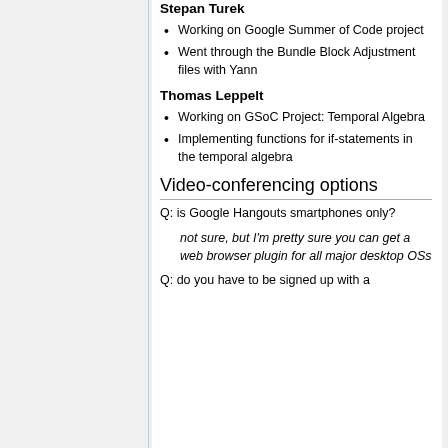Stepan Turek
Working on Google Summer of Code project
Went through the Bundle Block Adjustment files with Yann
Thomas Leppelt
Working on GSoC Project: Temporal Algebra
Implementing functions for if-statements in the temporal algebra
Video-conferencing options
Q: is Google Hangouts smartphones only?
not sure, but I'm pretty sure you can get a web browser plugin for all major desktop OSs
Q: do you have to be signed up with a